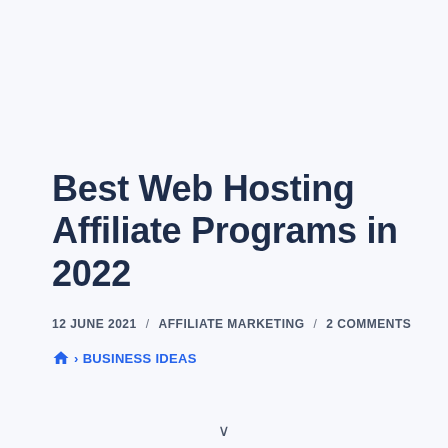Best Web Hosting Affiliate Programs in 2022
12 JUNE 2021 / AFFILIATE MARKETING / 2 COMMENTS
🏠 > BUSINESS IDEAS